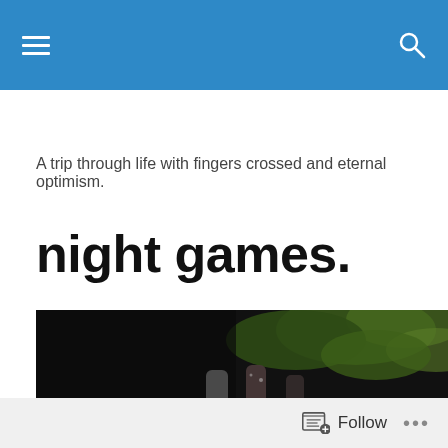Navigation bar with hamburger menu and search icon
A trip through life with fingers crossed and eternal optimism.
night games.
[Figure (photo): Dark outdoor night scene with people's legs/feet visible in foreground, blurred green foliage in background]
Follow  •••